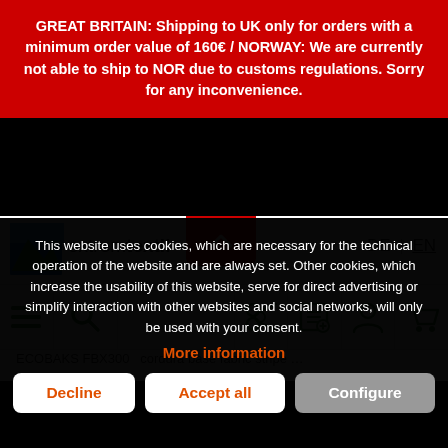GREAT BRITAIN: Shipping to UK only for orders with a minimum order value of 160€ / NORWAY: We are currently not able to ship to NOR due to customs regulations. Sorry for any inconvenience.
[Figure (screenshot): extremtextil website header with logo, brand name, language switcher (DE | EN), navigation icons (hamburger menu, search, scissors, list, account, cart), and partial product text]
This website uses cookies, which are necessary for the technical operation of the website and are always set. Other cookies, which increase the usability of this website, serve for direct advertising or simplify interaction with other websites and social networks, will only be used with your consent.
More information
Decline
Accept all
Configure